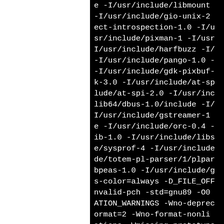e -I/usr/include/libmount -I/usr/include/gio-unix-2 ect-introspection-1.0 -I/usr/include/pixman-1 -I/usr I/usr/include/harfbuzz -I/usr/include/pango-1.0 -I/usr/include/gdk-pixbuf k-3.0 -I/usr/include/at-sp lude/at-spi-2.0 -I/usr/include/lib64/dbus-1.0/include -I/usr/include/gstreamer-1 e -I/usr/include/orc-0.4 -ib-1.0 -I/usr/include/libs e/sysprof-4 -I/usr/include/ de/totem-pl-parser/1/plpar bpeas-1.0 -I/usr/include/g s-color=always -D_FILE_OFF nvalid-pch -std=gnu89 -O0 ATION_WARNINGS -Wno-deprec ormat=2 -Wno-format-nonli ations -Wmissing-prototype pointer-arith -Wcast-align -fPIC -O2 -fwrapv -pipe -W -security -gdwarf-4 -fno-